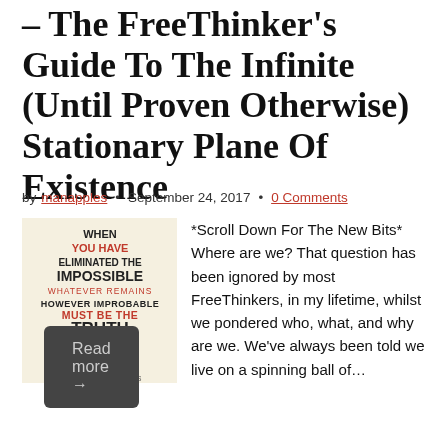– The FreeThinker's Guide To The Infinite (Until Proven Otherwise) Stationary Plane Of Existence
by manapples • September 24, 2017 • 0 Comments
[Figure (illustration): Sherlock Holmes silhouette image with quote: WHEN YOU HAVE ELIMINATED THE IMPOSSIBLE, WHATEVER REMAINS HOWEVER IMPROBABLE MUST BE THE TRUTH - SHERLOCK HOLMES, on a cream background]
*Scroll Down For The New Bits* Where are we? That question has been ignored by most FreeThinkers, in my lifetime, whilst we pondered who, what, and why are we. We've always been told we live on a spinning ball of…
Read more →